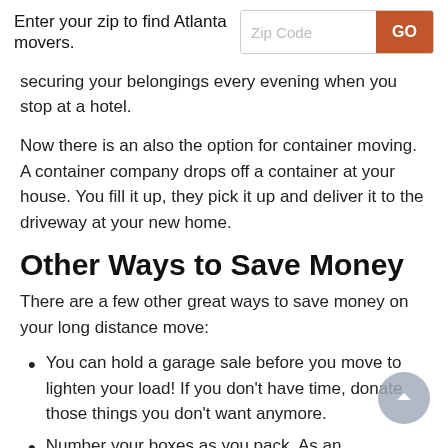Enter your zip to find Atlanta movers.
securing your belongings every evening when you stop at a hotel.
Now there is an also the option for container moving. A container company drops off a container at your house. You fill it up, they pick it up and deliver it to the driveway at your new home.
Other Ways to Save Money
There are a few other great ways to save money on your long distance move:
You can hold a garage sale before you move to lighten your load! If you don’t have time, donate those things you don’t want anymore.
Number your boxes as you pack. As an alternative, write what room the box belongs in (kitchen supplies go in kitchen). This can save you time and